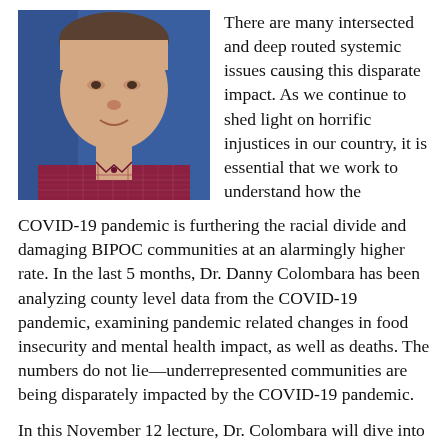[Figure (photo): Headshot of Dr. Danny Colombara, a middle-aged man with short hair wearing a burgundy/maroon plaid button-up shirt, smiling slightly, against a blue background.]
There are many intersected and deep routed systemic issues causing this disparate impact. As we continue to shed light on horrific injustices in our country, it is essential that we work to understand how the COVID-19 pandemic is furthering the racial divide and damaging BIPOC communities at an alarmingly higher rate. In the last 5 months, Dr. Danny Colombara has been analyzing county level data from the COVID-19 pandemic, examining pandemic related changes in food insecurity and mental health impact, as well as deaths. The numbers do not lie—underrepresented communities are being disparately impacted by the COVID-19 pandemic.
In this November 12 lecture, Dr. Colombara will dive into the data and research being collected at the Public Health Department discussing the economic and social impact of the pandemic, disparate impact on BIPOC groups in food